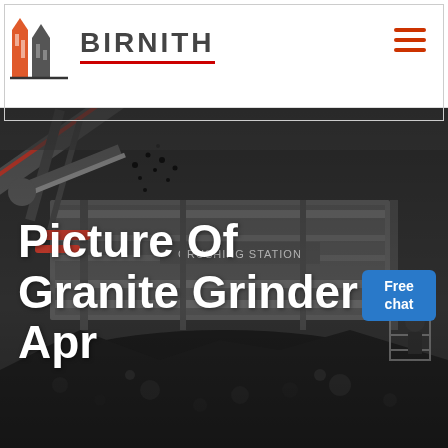[Figure (logo): Birnith company logo with red/orange building icon and BIRNITH text in dark grey with red underline, hamburger menu icon in red on the right]
[Figure (photo): Industrial crushing station machinery with conveyor belts and large aggregate/coal piles in dark grey tones, labeled CRUSHING STATION on the machine]
Picture Of Granite Grinder Apr